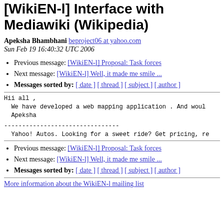[WikiEN-l] Interface with Mediawiki (Wikipedia)
Apeksha Bhambhani beproject06 at yahoo.com
Sun Feb 19 16:40:32 UTC 2006
Previous message: [WikiEN-l] Proposal: Task forces
Next message: [WikiEN-l] Well, it made me smile ...
Messages sorted by: [ date ] [ thread ] [ subject ] [ author ]
Hii all ,
  We have developed a web mapping application . And woul
  Apeksha
--------------------------------
Yahoo! Autos. Looking for a sweet ride? Get pricing, re
Previous message: [WikiEN-l] Proposal: Task forces
Next message: [WikiEN-l] Well, it made me smile ...
Messages sorted by: [ date ] [ thread ] [ subject ] [ author ]
More information about the WikiEN-l mailing list